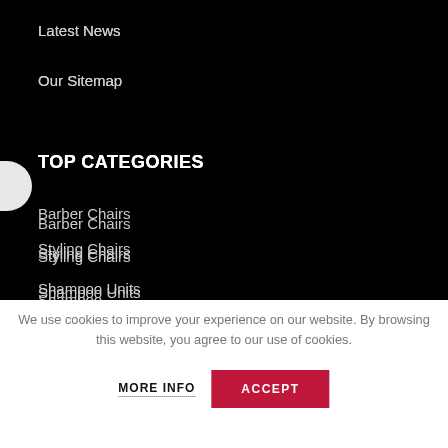Latest News
Our Sitemap
TOP CATEGORIES
Barber Chairs
Styling Chairs
Shampoo Units
Styling Stations
Reception Desks
We use cookies to improve your experience on our website. By browsing this website, you agree to our use of cookies.
MORE INFO
ACCEPT